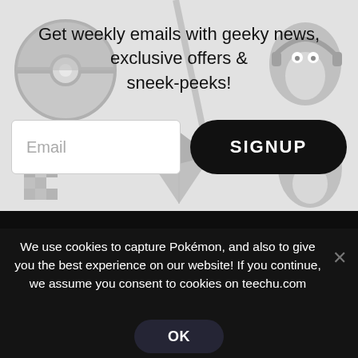[Figure (screenshot): Light grey background with faded geeky figurine decorations (Pokeball, Linux Tux penguin, pixel art character, gem/crystal shape)]
Get weekly emails with geeky news, exclusive offers & sneek-peeks!
[Figure (screenshot): Email input field with placeholder text 'Email' and a black rounded SIGNUP button]
We use cookies to capture Pokémon, and also to give you the best experience on our website! If you continue, we assume you consent to cookies on teechu.com
OK